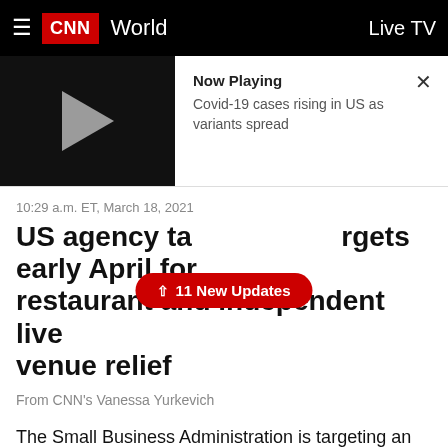CNN World | Live TV
[Figure (screenshot): Video player thumbnail showing play button on dark background with 'Now Playing: Covid-19 cases rising in US as variants spread' text and close button]
10:29 a.m. ET, March 18, 2021
US agency targets early April for restaurant and independent live venue relief
↑ 11 New Updates
From CNN's Vanessa Yurkevich
The Small Business Administration is targeting an early April roll out of the Restaurant Revitalization Fund Grant, the agency said Thursday.
The $28.6 billion fund, passed as part of the $1.9 trillion Covid relief bill, will provide funding for restaurants and